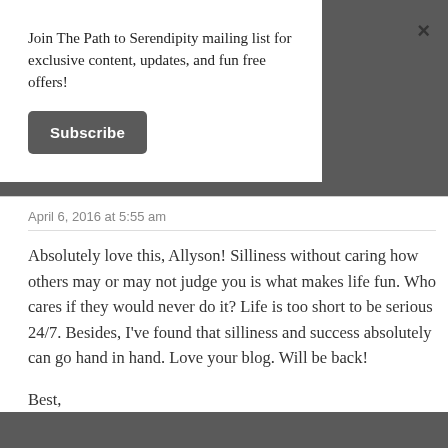Join The Path to Serendipity mailing list for exclusive content, updates, and fun free offers!
Subscribe
April 6, 2016 at 5:55 am
Absolutely love this, Allyson! Silliness without caring how others may or may not judge you is what makes life fun. Who cares if they would never do it? Life is too short to be serious 24/7. Besides, I've found that silliness and success absolutely can go hand in hand. Love your blog. Will be back!
Best,